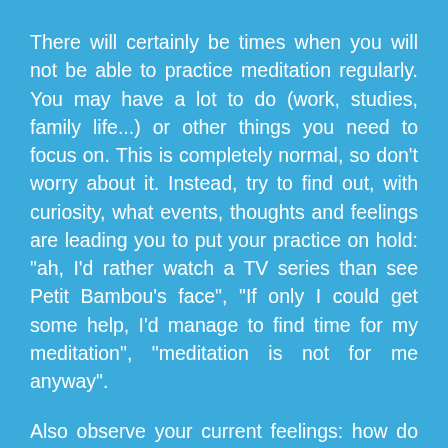There will certainly be times when you will not be able to practice meditation regularly. You may have a lot to do (work, studies, family life...) or other things you need to focus on. This is completely normal, so don't worry about it. Instead, try to find out, with curiosity, what events, thoughts and feelings are leading you to put your practice on hold: "ah, I'd rather watch a TV series than see Petit Bambou's face", "If only I could get some help, I'd manage to find time for my meditation", "meditation is not for me anyway".
Also observe your current feelings: how do you feel about meditating again? Slowly let these positive or negative thoughts pass by. Forgive yourself and never forget: every day is a new beginning - you can always start over